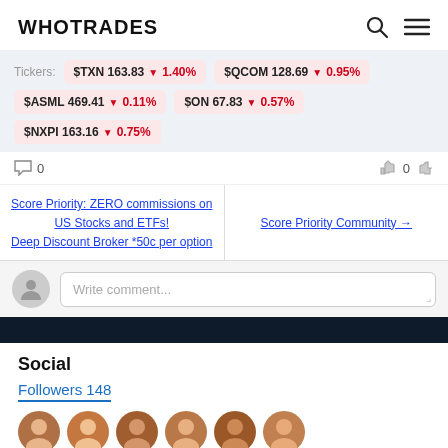WHOTRADES
Tickers: $TXN 163.83 ▼1.40% | $QCOM 128.69 ▼0.95% | $ASML 469.41 ▼0.11% | $ON 67.83 ▼0.57% | $NXPI 163.16 ▼0.75%
0 comments  0 likes
Score Priority: ZERO commissions on US Stocks and ETFs! Deep Discount Broker *50c per option
Score Priority Community →
Write comment...
Social
Followers 148